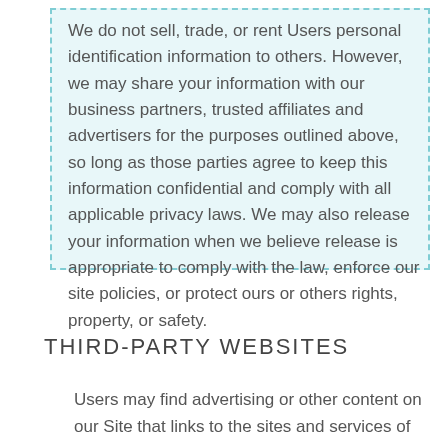We do not sell, trade, or rent Users personal identification information to others. However, we may share your information with our business partners, trusted affiliates and advertisers for the purposes outlined above, so long as those parties agree to keep this information confidential and comply with all applicable privacy laws. We may also release your information when we believe release is appropriate to comply with the law, enforce our site policies, or protect ours or others rights, property, or safety.
THIRD-PARTY WEBSITES
Users may find advertising or other content on our Site that links to the sites and services of